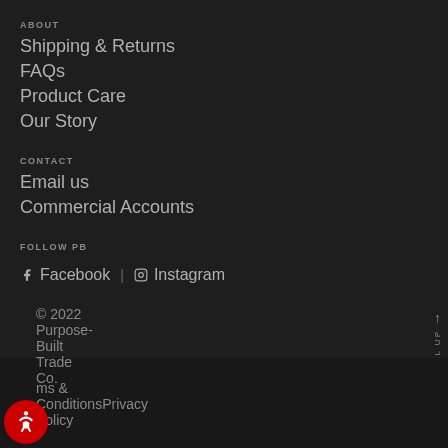ABOUT
Shipping & Returns
FAQs
Product Care
Our Story
CONTACT
Email us
Commercial Accounts
FOLLOW PB
Facebook | Instagram
SCROLL UP
© 2022 Purpose-Built Trade Co.
Terms & Conditions Privacy Policy